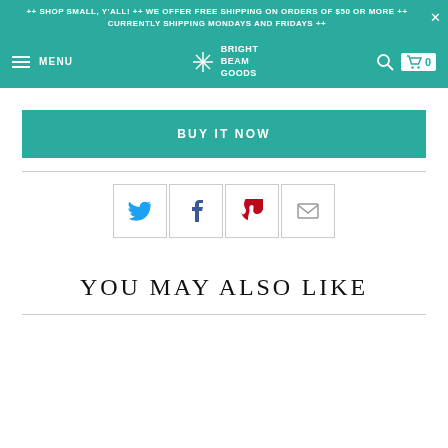++ SHOP SMALL, Y'ALL! ++ WE OFFER FREE SHIPPING ON ORDERS OF $50 OR MORE ++ CURRENTLY SHIPPING MONDAYS AND FRIDAYS ++
MENU  BRIGHT BEAM GOODS  0
BUY IT NOW
[Figure (screenshot): Social share buttons: Twitter, Facebook, Pinterest, Email]
YOU MAY ALSO LIKE